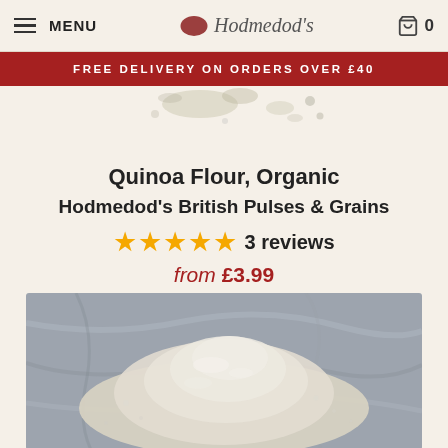MENU | Hodmedod's | 0
FREE DELIVERY ON ORDERS OVER £40
[Figure (photo): Scattered quinoa flour grains on light background at top of page]
Quinoa Flour, Organic
Hodmedod's British Pulses & Grains
★★★★★ 3 reviews
from £3.99
[Figure (photo): Close-up photo of pale quinoa flour powder piled on a grey marble surface]